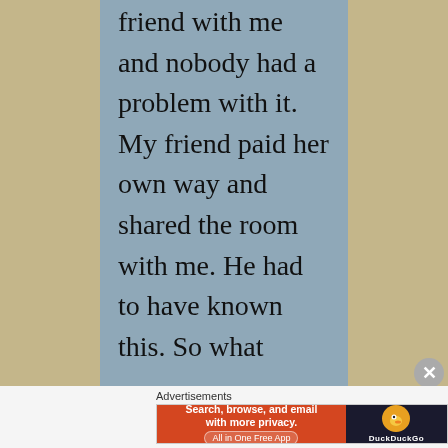friend with me and nobody had a problem with it. My friend paid her own way and shared the room with me. He had to have known this. So what
[Figure (screenshot): DuckDuckGo advertisement banner with orange left panel saying 'Search, browse, and email with more privacy. All in One Free App' and dark right panel with DuckDuckGo duck logo]